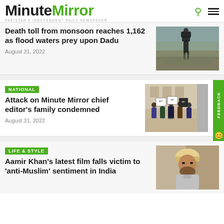MinuteMirror — PAKISTAN'S INDEPENDENT DAILY NEWSPAPER
Death toll from monsoon reaches 1,162 as flood waters prey upon Dadu — August 31, 2022
[Figure (photo): Person wading through flood waters carrying a large bundle on their head]
NATIONAL
Attack on Minute Mirror chief editor's family condemned — August 31, 2022
[Figure (photo): Group of men holding protest signs with Urdu text]
LIFE & STYLE
Aamir Khan's latest film falls victim to 'anti-Muslim' sentiment in India
[Figure (photo): Man wearing a turban, appears to be from a movie still]